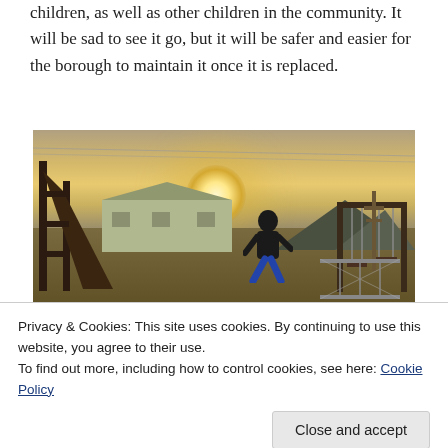children, as well as other children in the community. It will be sad to see it go, but it will be safer and easier for the borough to maintain it once it is replaced.
[Figure (photo): A child playing on an old wooden playground slide at dusk/sunset, with buildings and hills in the background, swings visible to the right.]
Privacy & Cookies: This site uses cookies. By continuing to use this website, you agree to their use.
To find out more, including how to control cookies, see here: Cookie Policy
[Figure (photo): Bottom strip showing partial images of children on playground equipment.]